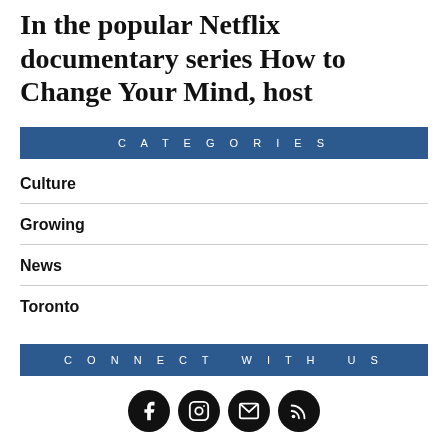In the popular Netflix documentary series How to Change Your Mind, host
CATEGORIES
Culture
Growing
News
Toronto
CONNECT WITH US
[Figure (infographic): Row of four social media icon circles: Facebook, Instagram, Email, RSS feed]